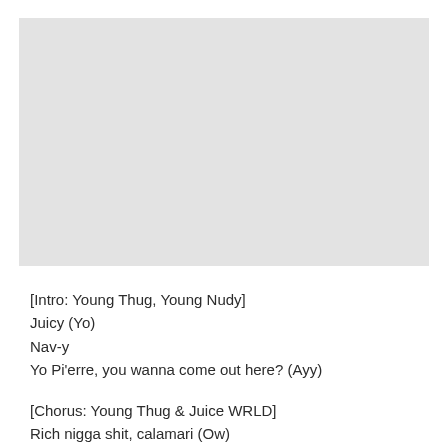[Figure (other): Large light gray rectangular image placeholder area]
[Intro: Young Thug, Young Nudy]
Juicy (Yo)
Nav-y
Yo Pi'erre, you wanna come out here? (Ayy)
[Chorus: Young Thug & Juice WRLD]
Rich nigga shit, calamari (Ow)